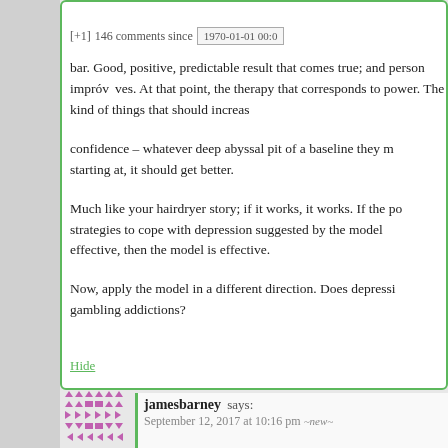bar. Good, positive, predictable result that comes true; and person improves. At that point, the therapy that corresponds to power. The kind of things that should increase confidence – whatever deep abyssal pit of a baseline they may be starting at, it should get better.
Much like your hairdryer story; if it works, it works. If the positive strategies to cope with depression suggested by the model are effective, then the model is effective.
Now, apply the model in a different direction. Does depression cause gambling addictions?
Hide
jamesbarney says:
September 12, 2017 at 10:16 pm ~new~
If increased predictability improved depression it would also suggest watching movies you've already seen; solitary confinement would improve depression...